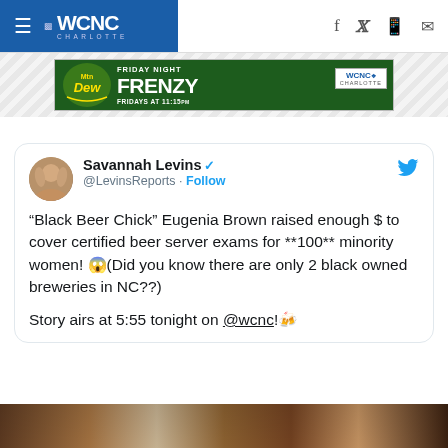WCNC Charlotte navigation bar with hamburger menu, WCNC Charlotte logo, and social icons (Facebook, Twitter, mobile, email)
[Figure (screenshot): Mountain Dew Friday Night Frenzy advertisement banner - green football field background with Mtn Dew logo, text FRIDAY NIGHT FRENZY, WCNC Charlotte logo, FRIDAYS AT 11:15pm]
[Figure (screenshot): Embedded tweet from Savannah Levins (@LevinsReports) with verified badge and Follow button. Tweet text: "Black Beer Chick" Eugenia Brown raised enough $ to cover certified beer server exams for **100** minority women! 😱(Did you know there are only 2 black owned breweries in NC??) Story airs at 5:55 tonight on @wcnc!🍻]
[Figure (photo): Partial image strip at bottom of page, appears to show people or a scene, cropped]